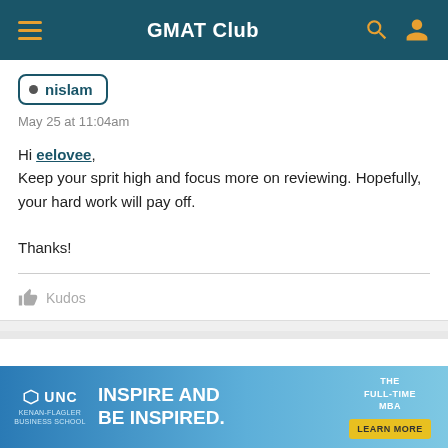GMAT Club
nislam
May 25 at 11:04am
Hi eelovee, Keep your sprit high and focus more on reviewing. Hopefully, your hard work will pay off.

Thanks!
Kudos
[Figure (screenshot): UNC Kenan-Flagler Business School advertisement banner: INSPIRE AND BE INSPIRED. THE FULL-TIME MBA. LEARN MORE button.]